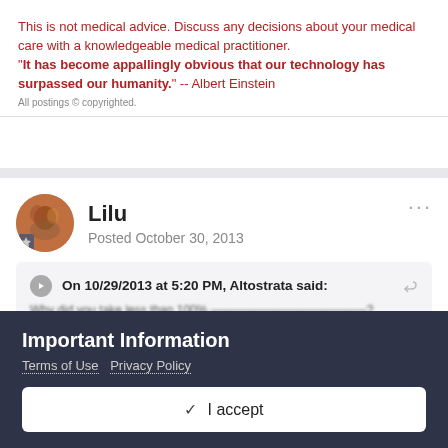This is not medical advice. Discuss any decisions about your medical care with a knowledgeable medical practitioner. "It has become appallingly obvious that our technology has surpassed our humanity." -- Albert Einstein
All postings © copyrighted.
Lilu
Posted October 30, 2013
On 10/29/2013 at 5:20 PM, Altostrata said:
Important Information
Terms of Use  Privacy Policy
✓  I accept